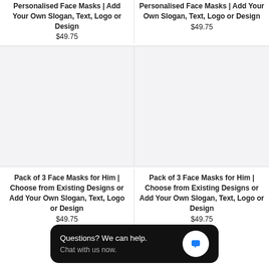Personalised Face Masks | Add Your Own Slogan, Text, Logo or Design
$49.75
Personalised Face Masks | Add Your Own Slogan, Text, Logo or Design
$49.75
[Figure (photo): Product image placeholder - light grey background]
[Figure (photo): Product image placeholder - light grey background]
Pack of 3 Face Masks for Him | Choose from Existing Designs or Add Your Own Slogan, Text, Logo or Design
$49.75
Pack of 3 Face Masks for Him | Choose from Existing Designs or Add Your Own Slogan, Text, Logo or Design
$49.75
Questions? We can help.
Chat with us now.